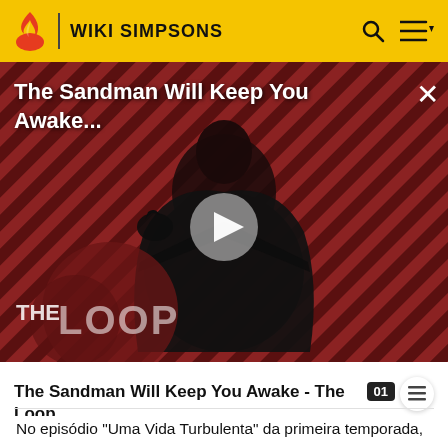WIKI SIMPSONS
[Figure (screenshot): Video thumbnail for 'The Sandman Will Keep You Awake...' featuring a dark-cloaked figure against a striped red/dark background with THE LOOP logo, play button overlay]
The Sandman Will Keep You Awake - The Loop
No episódio "Uma Vida Turbulenta" da primeira temporada, a idade de Marge é dita como 34 anos. Muitos episódios depois, entretanto, é dita que Marge tem 34